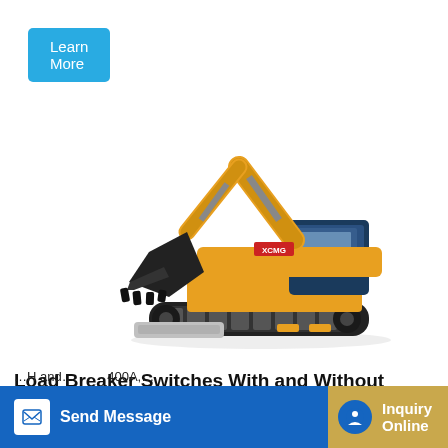Learn More
[Figure (photo): Yellow XCMG tracked excavator with blue cab, raised arm and bucket, on white background]
Load Breaker Switches With and Without Fuse - Federal
…H and … 400A, … Load Flow Compact with Power Terminal, The product is used in …
Send Message
Inquiry Online